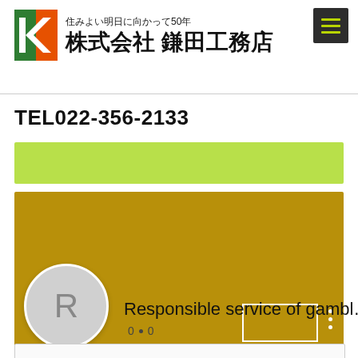住みよい明日に向かって50年 株式会社 鎌田工務店
TEL022-356-2133
[Figure (screenshot): Light green banner bar]
[Figure (screenshot): Gold/dark yellow banner with white rectangle outline and vertical dots menu icon, and circular avatar with letter R]
Responsible service of gambl…
0 • 0
[Figure (screenshot): Partial bottom white box with border]